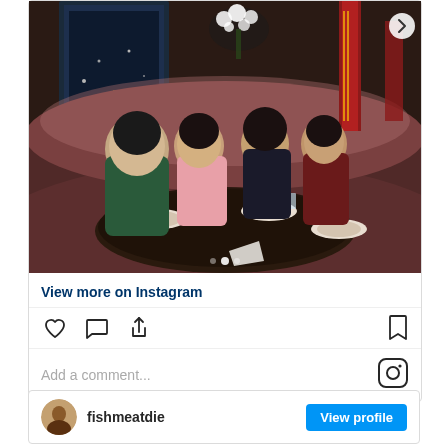[Figure (photo): Four women sitting at a round dining table in an upscale restaurant with dim lighting, mauve booths, floral decoration, and city view at night. Food and drinks on table.]
View more on Instagram
[Figure (infographic): Instagram post action icons: heart (like), speech bubble (comment), share arrow, bookmark]
Add a comment...
[Figure (logo): Instagram logo icon]
fishmeatdie
View profile